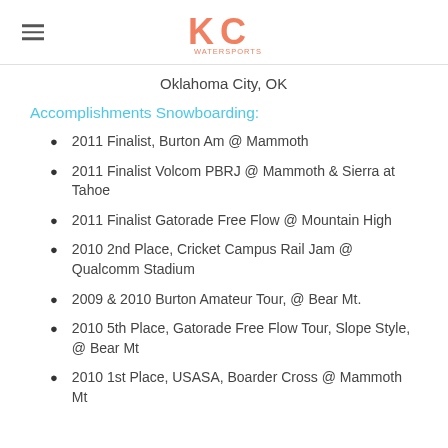KC Watersports logo with hamburger menu
Oklahoma City, OK
Accomplishments Snowboarding:
2011 Finalist, Burton Am @ Mammoth
2011 Finalist Volcom PBRJ @ Mammoth & Sierra at Tahoe
2011 Finalist Gatorade Free Flow @ Mountain High
2010 2nd Place, Cricket Campus Rail Jam @ Qualcomm Stadium
2009 & 2010 Burton Amateur Tour, @ Bear Mt.
2010 5th Place, Gatorade Free Flow Tour, Slope Style, @ Bear Mt
2010 1st Place, USASA, Boarder Cross @ Mammoth Mt